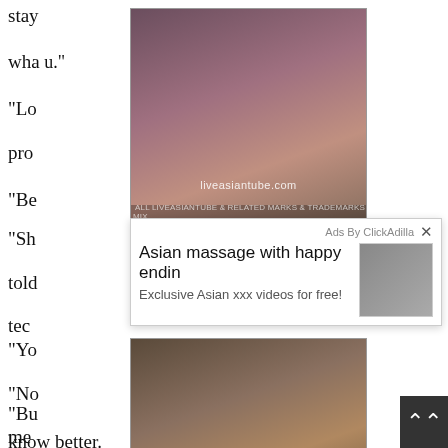stay
wha
“Lo
pro
“Be
[Figure (photo): Partially visible adult advertisement image with watermark liveasiantube.com]
“Sh
told
tech
“Yo
“No
me
hun
“Bu
know better.
[Figure (photo): Adult advertisement banner: Asian massage with happy ending, Exclusive Asian xxx videos for free, with thumbnail image, ads by ClickAdilla]
[Figure (photo): Second adult advertisement image with watermark www.liveasiantube.com]